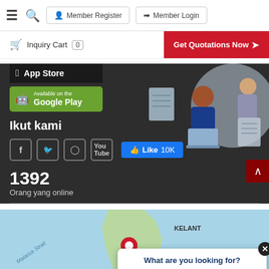Member Register | Member Login
Inquiry Cart 0 | Get Quotations Now
[Figure (screenshot): App Store download button (black background)]
[Figure (screenshot): Available on the Google Play button (green background)]
Ikut kami
[Figure (infographic): Social media icons: Facebook, Twitter, Instagram, YouTube and a Like 10K button]
1392
Orang yang online
[Figure (illustration): Business people illustration with documents and laptop]
[Figure (map): Map of Malaysia showing Penang, Kelant, Perak, Malacca Strait, Medan with location pins]
What are you looking for?
Let us know what you need.
Click here to get your free quote now!